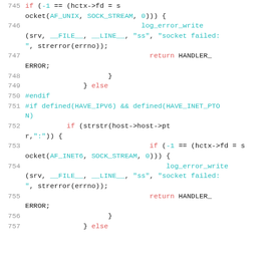[Figure (screenshot): Source code listing showing C code lines 745–757 with syntax highlighting. Line numbers in gray on left. Keywords in red, preprocessor directives and strings in teal/cyan, regular code in dark/black.]